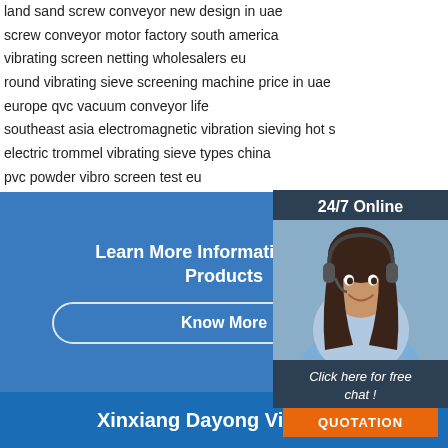land sand screw conveyor new design in uae
screw conveyor motor factory south america
vibrating screen netting wholesalers eu
round vibrating sieve screening machine price in uae
europe qvc vacuum conveyor life
southeast asia electromagnetic vibration sieving hot s
electric trommel vibrating sieve types china
pvc powder vibro screen test eu
south america dewatering vibro screen manufacturer
ultrasonic tumbler vibrating sieve company southeast
[Figure (photo): Customer service representative (woman with headset) in a 24/7 Online chat widget overlay]
Learn More Information About Products
Know More
Xinxiang Dayong Vibration